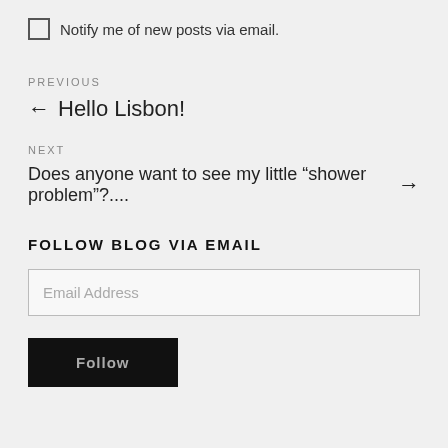Notify me of new posts via email.
PREVIOUS
← Hello Lisbon!
NEXT
Does anyone want to see my little “shower problem”?.... →
FOLLOW BLOG VIA EMAIL
Email Address
Follow